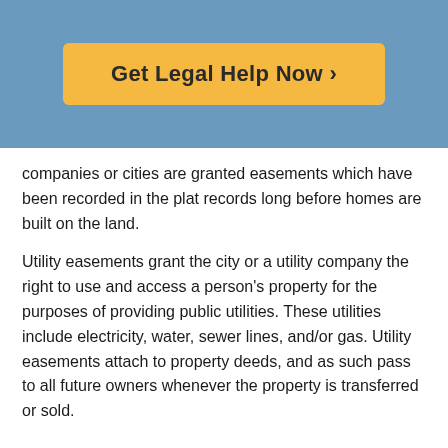[Figure (other): Yellow button with text 'Get Legal Help Now >' on a blue background header]
companies or cities are granted easements which have been recorded in the plat records long before homes are built on the land.

Utility easements grant the city or a utility company the right to use and access a person's property for the purposes of providing public utilities. These utilities include electricity, water, sewer lines, and/or gas. Utility easements attach to property deeds, and as such pass to all future owners whenever the property is transferred or sold.
Do I Need An Attorney To Request A Public Street Or Easement Vacation?